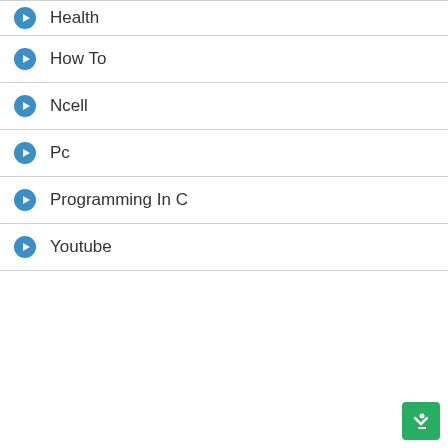Health
How To
Ncell
Pc
Programming In C
Youtube